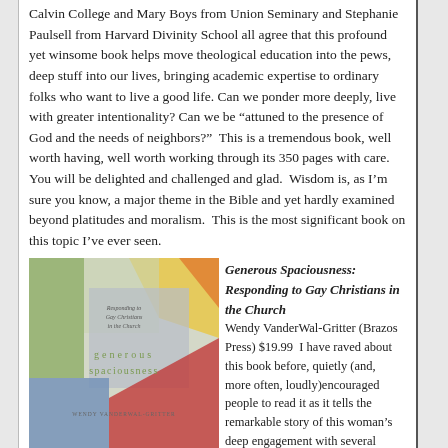Calvin College and Mary Boys from Union Seminary and Stephanie Paulsell from Harvard Divinity School all agree that this profound yet winsome book helps move theological education into the pews, deep stuff into our lives, bringing academic expertise to ordinary folks who want to live a good life. Can we ponder more deeply, live with greater intentionality? Can we be “attuned to the presence of God and the needs of neighbors?”  This is a tremendous book, well worth having, well worth working through its 350 pages with care. You will be delighted and challenged and glad.  Wisdom is, as I’m sure you know, a major theme in the Bible and yet hardly examined beyond platitudes and moralism.  This is the most significant book on this topic I’ve ever seen.
[Figure (illustration): Book cover of Generous Spaciousness: Responding to Gay Christians in the Church by Wendy VanderWal-Gritter. Cover shows abstract watercolor patches in yellow, green, grey, blue, and red with the title in light green lowercase letters.]
Generous Spaciousness: Responding to Gay Christians in the Church Wendy VanderWal-Gritter (Brazos Press) $19.99  I have raved about this book before, quietly (and, more often, loudly)encouraged people to read it as it tells the remarkable story of this woman’s deep engagement with several sides and groups within the conversation about same sex